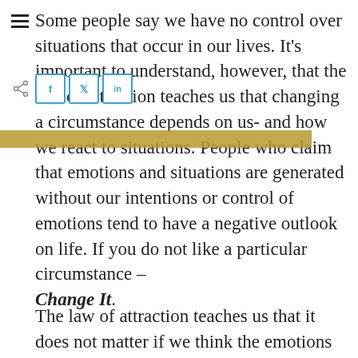Some people say we have no control over situations that occur in our lives. It's important to understand, however, that the law of attraction teaches us that changing a circumstance depends on us- and how we react to situations. People who claim that emotions and situations are generated without our intentions or control of emotions tend to have a negative outlook on life. If you do not like a particular circumstance – Change It.
The law of attraction teaches us that it does not matter if we think the emotions we are